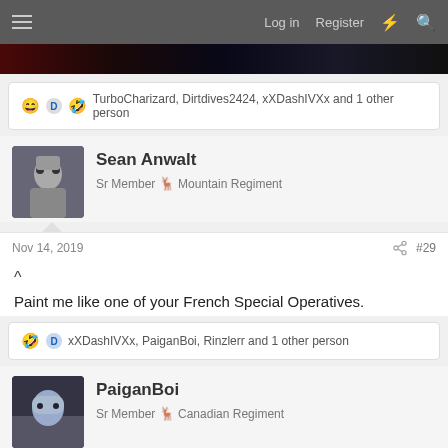Log in  Register
[Figure (screenshot): Dark banner image strip at top of forum page]
😄 🅓 🤣 TurboCharizard, Dirtdives2424, xXDashIVXx and 1 other person
Sean Anwalt
Sr Member 🦌 Mountain Regiment
Nov 14, 2019  #29
^
Paint me like one of your French Special Operatives.
🤣 🅓 xXDashIVXx, PaiganBoi, Rinzlerr and 1 other person
PaiganBoi
Sr Member 🦌 Canadian Regiment
Nov 14, 2019  #30